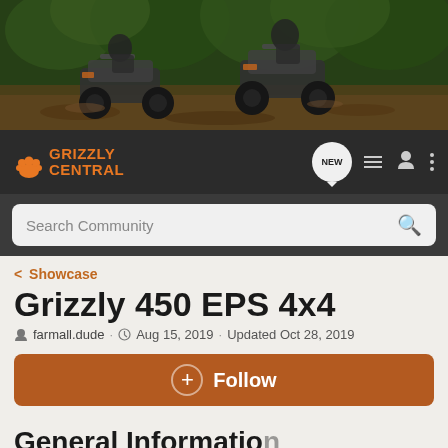[Figure (photo): Hero banner image showing two ATV riders on muddy forest trail with green foliage in background]
GRIZZLY CENTRAL
Search Community
< Showcase
Grizzly 450 EPS 4x4
farmall.dude · Aug 15, 2019 · Updated Oct 28, 2019
+ Follow
General Information